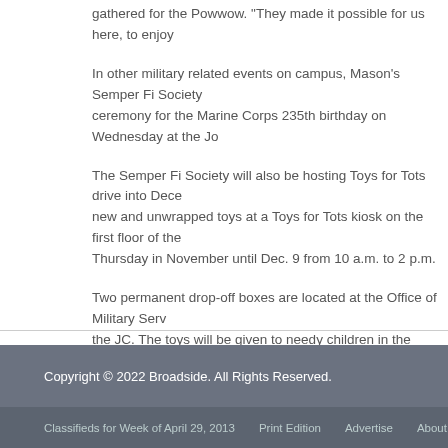We are honoring in because of these individuals have before you, gathered for the Powwow. “They made it possible for us here, to enjoy
In other military related events on campus, Mason’s Semper Fi Society ceremony for the Marine Corps 235th birthday on Wednesday at the Jo
The Semper Fi Society will also be hosting Toys for Tots drive into Dece new and unwrapped toys at a Toys for Tots kiosk on the first floor of the Thursday in November until Dec. 9 from 10 a.m. to 2 p.m.
Two permanent drop-off boxes are located at the Office of Military Serv the JC. The toys will be given to needy children in the community.
Aaron C. Emery, transition assistant coordinator with OMS said that ho events helps ease the transition into college life and fosters a communa veterans at Mason. “People can relate to it and it gives them a sense o
Copyright © 2022 Broadside. All Rights Reserved.
Classifieds for Week of April 29, 2013   Print Edition   Advertise   About Us